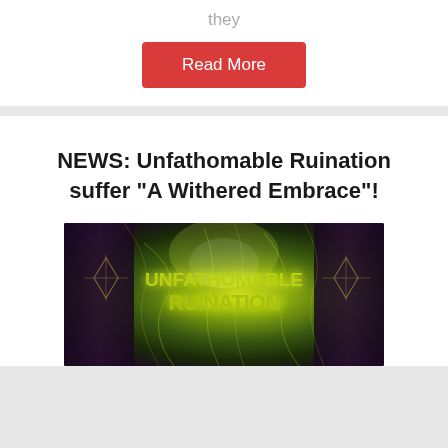they
Read More
NEWS: Unfathomable Ruination suffer “A Withered Embrace”!
[Figure (photo): Band logo for Unfathomable Ruination with green glowing text on a dark purple/green mystical background with occult symbols on the sides]